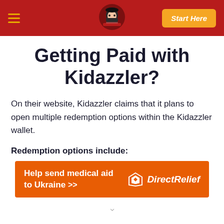Navigation bar with hamburger menu, logo, and Start Here button
Getting Paid with Kidazzler?
On their website, Kidazzler claims that it plans to open multiple redemption options within the Kidazzler wallet.
Redemption options include:
[Figure (infographic): Orange banner advertisement: Help send medical aid to Ukraine >> with Direct Relief logo on the right]